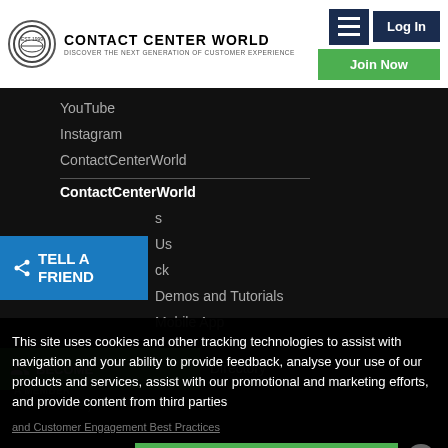Contact Center World | Discover The Next Generation Of Customer Experience
YouTube
Instagram
ContactCenterWorld
ContactCenterWorld
Demos and Tutorials
Mobile App
Directory
[Figure (other): Tell A Friend share button in blue]
[Figure (other): Become a Member button in green]
This site uses cookies and other tracking technologies to assist with navigation and your ability to provide feedback, analyse your use of our products and services, assist with our promotional and marketing efforts, and provide content from third parties
+ Much More